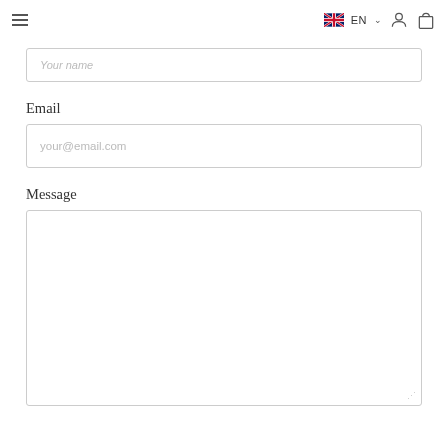≡  EN  ▾  [user icon]  [bag icon]
Your name (placeholder, partially visible)
Email
your@email.com (placeholder)
Message
(empty message textarea)